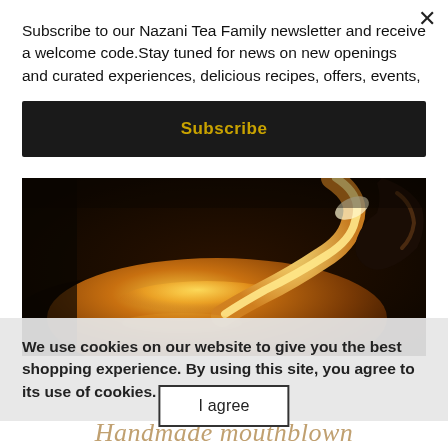Subscribe to our Nazani Tea Family newsletter and receive a welcome code.Stay tuned for news on new openings and curated experiences, delicious recipes, offers, events,
Subscribe
[Figure (photo): Close-up photo of glowing amber/gold liquid tea being poured, with bright highlights and dark background, showing the viscous stream catching the light.]
We use cookies on our website to give you the best shopping experience. By using this site, you agree to its use of cookies.
I agree
Handmade mouthblown